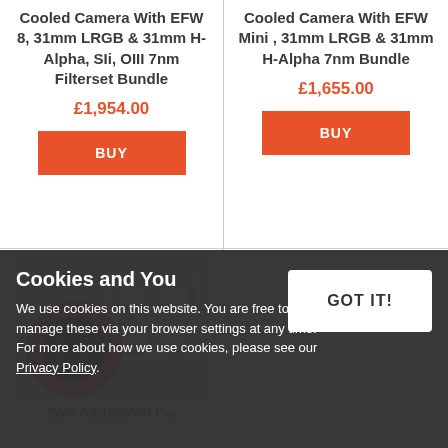Cooled Camera With EFW 8, 31mm LRGB & 31mm H-Alpha, SIi, OIII 7nm Filterset Bundle
£1,954.00
Cooled Camera With EFW Mini , 31mm LRGB & 31mm H-Alpha 7nm Bundle
£1,655.00
[Figure (photo): ZWO ASI1600MM Pro cooled camera with filter wheel and LRGB filter set displayed in box]
ZWO ASI1600MM Pro
Cookies and You
We use cookies on this website. You are free to manage these via your browser settings at any time. For more about how we use cookies, please see our Privacy Policy.